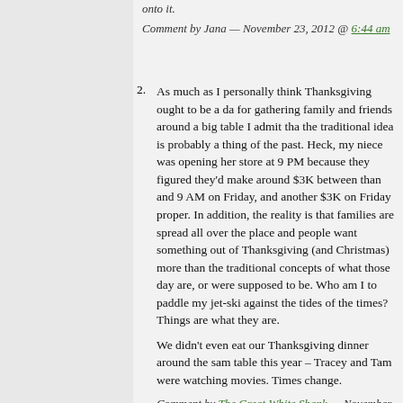onto it.
Comment by Jana — November 23, 2012 @ 6:44 am
2. As much as I personally think Thanksgiving ought to be a day for gathering family and friends around a big table I admit that the traditional idea is probably a thing of the past. Heck, my niece was opening her store at 9 PM because they figured they'd make around $3K between than and 9 AM on Friday, and another $3K on Friday proper. In addition, the reality is that families are spread all over the place and people want something out of Thanksgiving (and Christmas) more than the traditional concepts of what those day are, or were supposed to be. Who am I to paddle my jet-ski against the tides of the times? Things are what they are.
We didn't even eat our Thanksgiving dinner around the same table this year – Tracey and Tam were watching movies. Times change.
Comment by The Great White Shank — November 23, 2012 @ 12:19 pm
3. My family still does the traditional everyone around the table...I love having friends and family at my dining table and try as often as possible to gather them, even if I have make up a reason. So, if you two can every get back here, meals